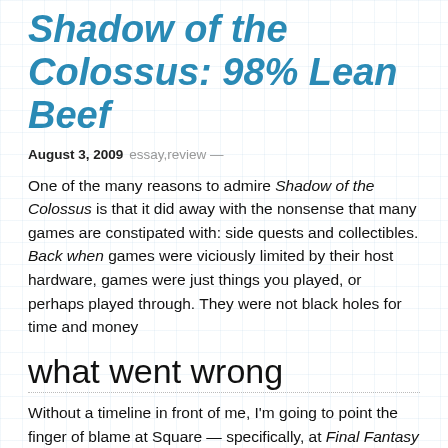Shadow of the Colossus: 98% Lean Beef
August 3, 2009  essay,review —
One of the many reasons to admire Shadow of the Colossus is that it did away with the nonsense that many games are constipated with: side quests and collectibles. Back when games were viciously limited by their host hardware, games were just things you played, or perhaps played through. They were not black holes for time and money
what went wrong
Without a timeline in front of me, I'm going to point the finger of blame at Square — specifically, at Final Fantasy VII — for beginning this spiraling trend of superfluity. The complexity of games bumped up the